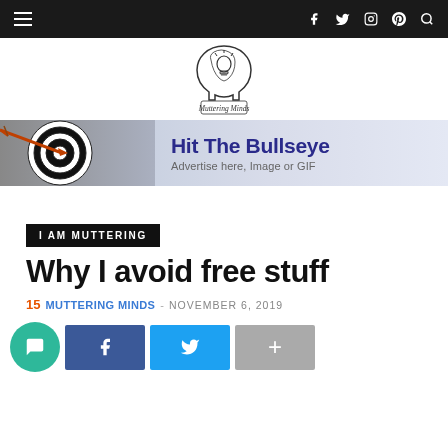Navigation bar with hamburger menu and social icons (f, twitter, instagram, pinterest, search)
[Figure (logo): Muttering Minds logo: outline of a human head profile with a lightbulb inside, text 'Muttering Minds' below in script font]
[Figure (infographic): Advertisement banner: target/bullseye with arrow on left, text 'Hit The Bullseye' and 'Advertise here, Image or GIF' on right]
I AM MUTTERING
Why I avoid free stuff
15 MUTTERING MINDS - NOVEMBER 6, 2019